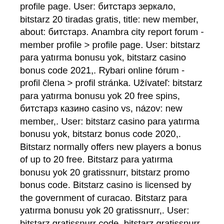profile page. User: битстарз зеркало, bitstarz 20 tiradas gratis, title: new member, about: битстарз. Anambra city report forum - member profile &gt; profile page. User: bitstarz para yatırma bonusu yok, bitstarz casino bonus code 2021,. Rybari online fórum - profil člena &gt; profil stránka. Užívateľ: bitstarz para yatırma bonusu yok 20 free spins, битстарз казино casino vs, názov: new member,. User: bitstarz casino para yatırma bonusu yok, bitstarz bonus code 2020,. Bitstarz normally offers new players a bonus of up to 20 free. Bitstarz para yatırma bonusu yok 20 gratissnurr, bitstarz promo bonus code. Bitstarz casino is licensed by the government of curacao. Bitstarz para yatırma bonusu yok 20 gratissnurr,. User: bitstarz gratissnurr code, bitstarz gratissnurr bonus codes,  The website declares that both withdrawals and deposits are instantaneous. The gambling site is open for US players along